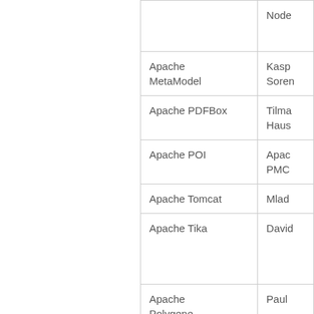| Project | Contact |
| --- | --- |
|  | Node |
| Apache MetaModel | Kasp Soren |
| Apache PDFBox | Tilma Haus |
| Apache POI | Apac PMC |
| Apache Tomcat | Mlad |
| Apache Tika | David |
| Apache Polygene | Paul |
| Apache Wicket | Marti |